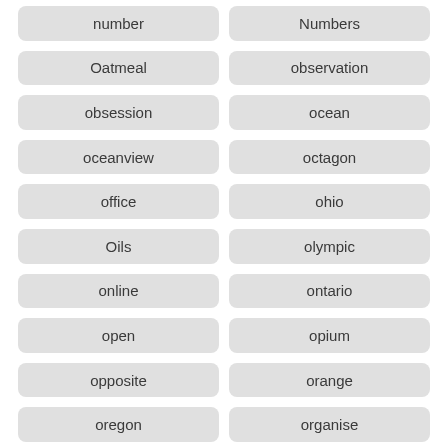number
Numbers
Oatmeal
observation
obsession
ocean
oceanview
octagon
office
ohio
Oils
olympic
online
ontario
open
opium
opposite
orange
oregon
organise